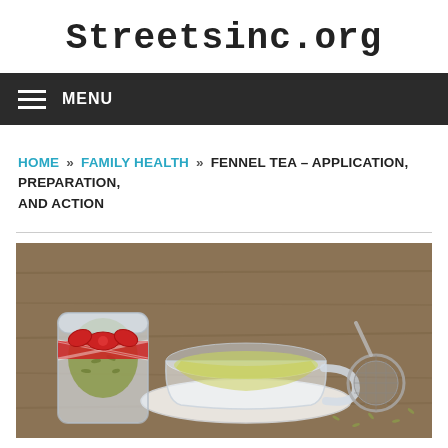Streetsinc.org
MENU
HOME » FAMILY HEALTH » FENNEL TEA – APPLICATION, PREPARATION, AND ACTION
[Figure (photo): A glass cup of fennel tea on a saucer with a jar of fennel seeds decorated with red gingham ribbon, on a wooden table, with a tea strainer to the right.]